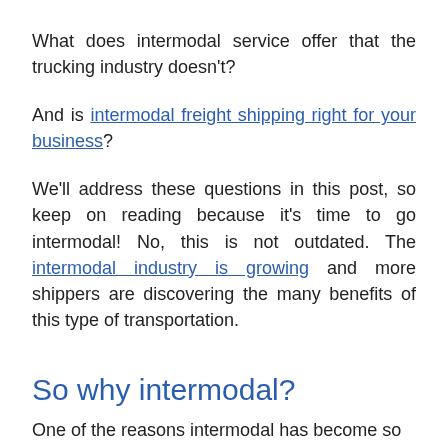What does intermodal service offer that the trucking industry doesn't?
And is intermodal freight shipping right for your business?
We'll address these questions in this post, so keep on reading because it's time to go intermodal! No, this is not outdated. The intermodal industry is growing and more shippers are discovering the many benefits of this type of transportation.
So why intermodal?
One of the reasons intermodal has become so